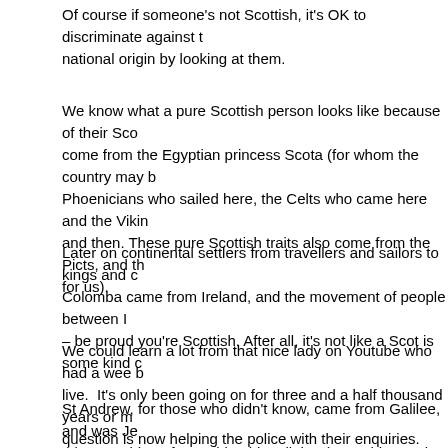Of course if someone's not Scottish, it's OK to discriminate against their national origin by looking at them.
We know what a pure Scottish person looks like because of their Sco come from the Egyptian princess Scota (for whom the country may b Phoenicians who sailed here, the Celts who came here and the Vikin and then. These pure Scottish traits also come from the Picts, and th for us).
Later on continental settlers from travellers and sailors to kings and c Colomba came from Ireland, and the movement of people between I – be proud you're Scottish. After all, it's not like a Scot is some kind c
We could learn a lot from that nice lady on Youtube who had a wee b live.  It's only been going on for three and a half thousand years or m question is now helping the police with their enquiries.
St Andrew, for those who didn't know, came from Galilee, and was Je this crazy idea of preaching his religion (something to do with 'turning so on) to people in every country he could manage to travel to.